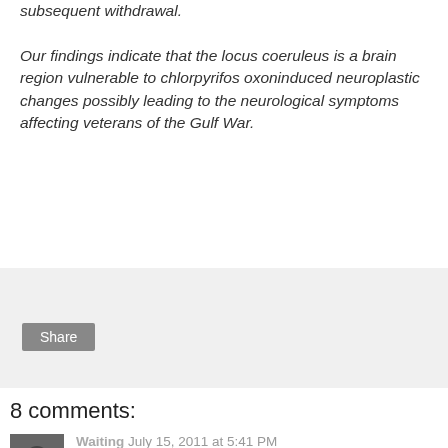subsequent withdrawal.

Our findings indicate that the locus coeruleus is a brain region vulnerable to chlorpyrifos oxoninduced neuroplastic changes possibly leading to the neurological symptoms affecting veterans of the Gulf War.
[Figure (other): Share button inside a light gray box]
8 comments:
Waiting July 15, 2011 at 5:41 PM
There are lots of studies similar to this one that are presenting a strong case for brain and mitochondrial